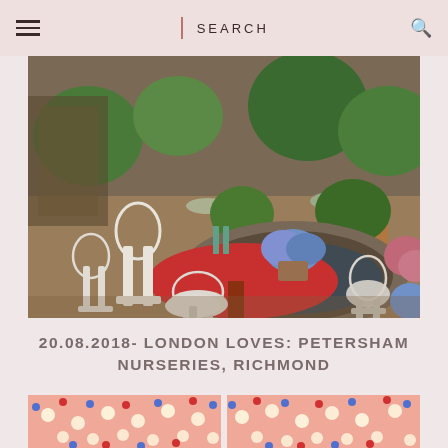SEARCH
[Figure (photo): Outdoor garden cafe with white wrought iron chairs and tables, a large red circular table, stone pond/planter with blue hydrangeas, surrounded by lush greenery and potted plants in a nursery setting.]
20.08.2018- LONDON LOVES: PETERSHAM NURSERIES, RICHMOND
[Figure (photo): Pink background with colorful dot lights (blue, red) and glowing white bulbs, part of a decorative light installation, showing two side-by-side cropped images.]